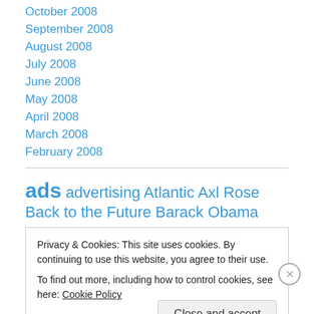October 2008
September 2008
August 2008
July 2008
June 2008
May 2008
April 2008
March 2008
February 2008
ads advertising Atlantic Axl Rose Back to the Future Barack Obama
Privacy & Cookies: This site uses cookies. By continuing to use this website, you agree to their use.
To find out more, including how to control cookies, see here: Cookie Policy